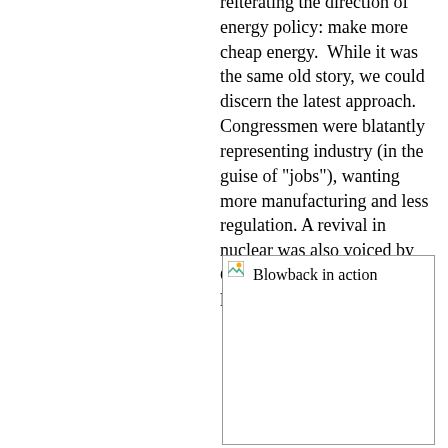reiterating the direction of energy policy: make more cheap energy.  While it was the same old story, we could discern the latest approach. Congressmen were blatantly representing industry (in the guise of "jobs"), wanting more manufacturing and less regulation. A revival in nuclear was also voiced by Greenspan and industry lackeys on the Committee.
[Figure (photo): Image placeholder with alt text 'Blowback in action']